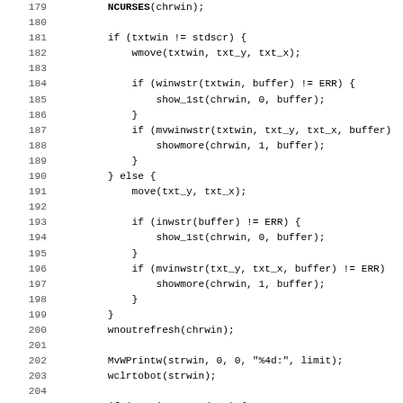[Figure (screenshot): Source code listing showing C code with line numbers 179-211, featuring ncurses library function calls including txtwin, stdscr, wmove, winwstr, show_1st, mvwinwstr, showmore, move, inwstr, mvinwstr, wnoutrefresh, MvWPrintw, wclrtobot, winnwstr, mvwinnwstr with various parameters like buffer, txt_y, txt_x, chrwin, strwin, limit.]